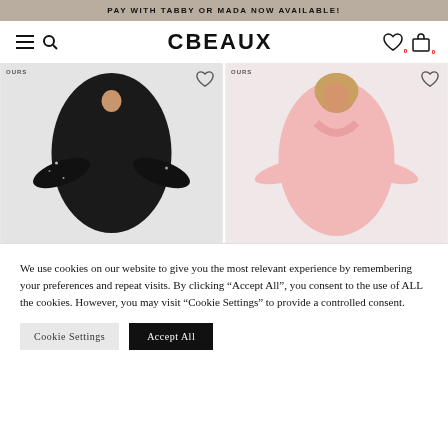PAY WITH TABBY OR MADA NOW AVAILABLE!
CBEAUX
[Figure (photo): Two product photos side by side: left shows a model wearing a black embellished abaya with hijab; right shows a model wearing a pale pink abaya. Both cards have 'OURS' label and heart/wishlist icon.]
We use cookies on our website to give you the most relevant experience by remembering your preferences and repeat visits. By clicking “Accept All”, you consent to the use of ALL the cookies. However, you may visit “Cookie Settings” to provide a controlled consent.
Cookie Settings
Accept All